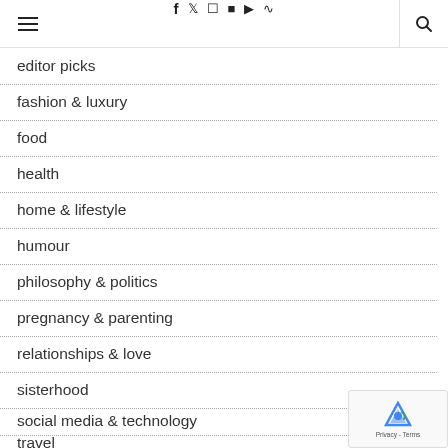Navigation header with hamburger menu, social icons (f, twitter, instagram, pinterest, youtube, rss), and search icon
editor picks
fashion & luxury
food
health
home & lifestyle
humour
philosophy & politics
pregnancy & parenting
relationships & love
sisterhood
social media & technology
travel